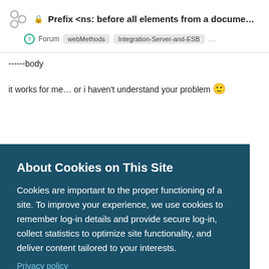Prefix <ns: before all elements from a docume... Forum webMethods Integration-Server-and-ESB ...
------body

it works for me... or i haven't understand your problem 🙂
About Cookies on This Site
Cookies are important to the proper functioning of a site. To improve your experience, we use cookies to remember log-in details and provide secure log-in, collect statistics to optimize site functionality, and deliver content tailored to your interests.
Privacy policy
AGREE AND PROCEED
I hope that you better understand my problem. I would like to